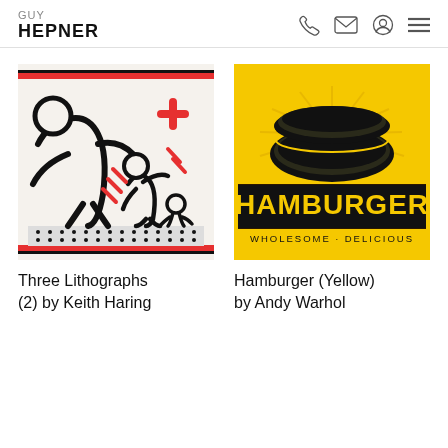GUY HEPNER
[Figure (illustration): Keith Haring artwork: Three Lithographs (2) — black line drawing of figures on white background with red accents and border stripes]
[Figure (illustration): Andy Warhol artwork: Hamburger (Yellow) — yellow background with black hamburger bun illustration and text HAMBURGER WHOLESOME · DELICIOUS]
Three Lithographs (2) by Keith Haring
Hamburger (Yellow) by Andy Warhol